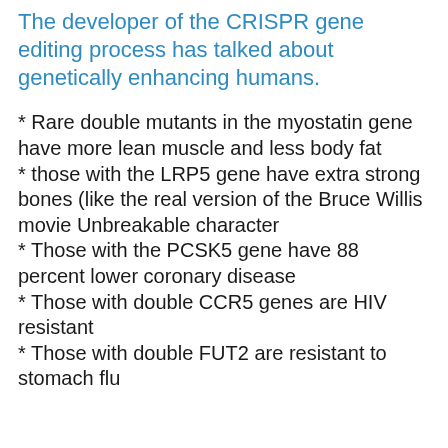The developer of the CRISPR gene editing process has talked about genetically enhancing humans.
* Rare double mutants in the myostatin gene have more lean muscle and less body fat
* those with the LRP5 gene have extra strong bones (like the real version of the Bruce Willis movie Unbreakable character
* Those with the PCSK5 gene have 88 percent lower coronary disease
* Those with double CCR5 genes are HIV resistant
* Those with double FUT2 are resistant to stomach flu